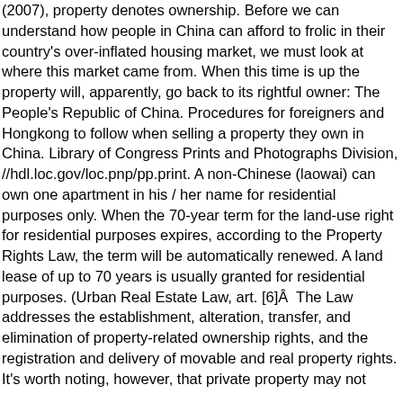(2007), property denotes ownership. Before we can understand how people in China can afford to frolic in their country's over-inflated housing market, we must look at where this market came from. When this time is up the property will, apparently, go back to its rightful owner: The People's Republic of China. Procedures for foreigners and Hongkong to follow when selling a property they own in China. Library of Congress Prints and Photographs Division, //hdl.loc.gov/loc.pnp/pp.print. A non-Chinese (laowai) can own one apartment in his / her name for residential purposes only. When the 70-year term for the land-use right for residential purposes expires, according to the Property Rights Law, the term will be automatically renewed. A land lease of up to 70 years is usually granted for residential purposes. (Urban Real Estate Law, art. [6]Â  The Law addresses the establishment, alteration, transfer, and elimination of property-related ownership rights, and the registration and delivery of movable and real property rights. It's worth noting, however, that private property may not